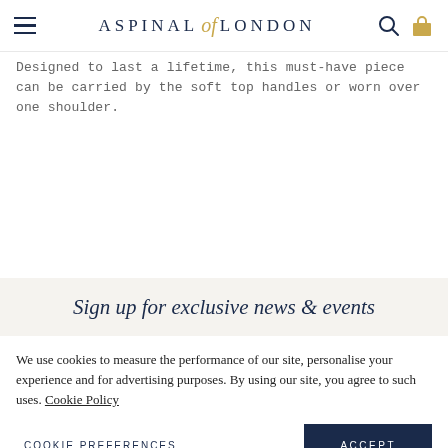Aspinal of London
Designed to last a lifetime, this must-have piece can be carried by the soft top handles or worn over one shoulder.
Sign up for exclusive news & events
We use cookies to measure the performance of our site, personalise your experience and for advertising purposes. By using our site, you agree to such uses. Cookie Policy
COOKIE PREFERENCES   ACCEPT